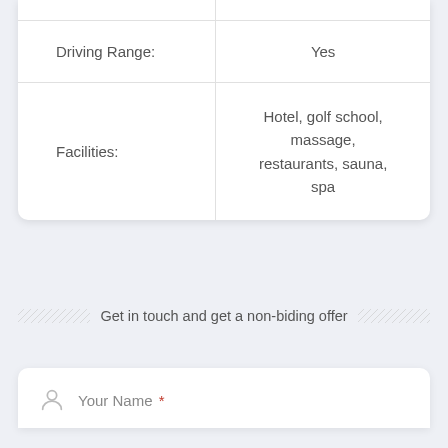|  |  |
| --- | --- |
| Driving Range: | Yes |
| Facilities: | Hotel, golf school, massage, restaurants, sauna, spa |
Get in touch and get a non-biding offer
Your Name *